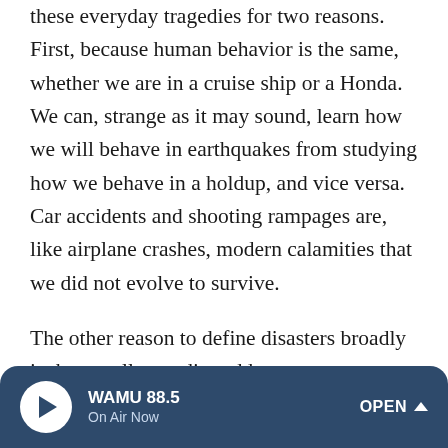these everyday tragedies for two reasons. First, because human behavior is the same, whether we are in a cruise ship or a Honda. We can, strange as it may sound, learn how we will behave in earthquakes from studying how we behave in a holdup, and vice versa. Car accidents and shooting rampages are, like airplane crashes, modern calamities that we did not evolve to survive.
The other reason to define disasters broadly is that small tragedies add up to megadisasters. Cumulatively, car accidents kill forty thousand people in the United States each year. Everyone reading this book knows someone who died in a car accident. Guns kill another thirty thousand Americans every year. For the rippling circles of friends and families that the victims leave behind, a gunshot feels…
WAMU 88.5 | On Air Now | OPEN